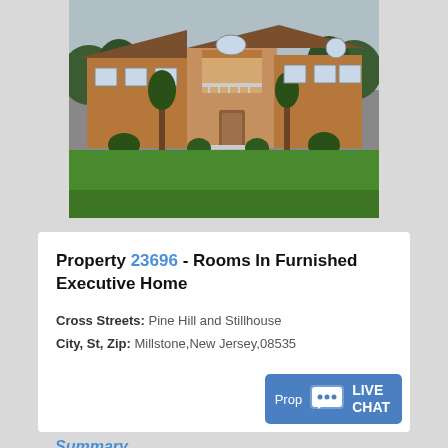[Figure (photo): Exterior photo of a two-story brick executive home with large green lawn, balcony over the entrance, and overcast sky background.]
Property 23696 - Rooms In Furnished Executive Home
Cross Streets: Pine Hill and Stillhouse
City, St, Zip: Millstone,New Jersey,08535
Prop LIVE CHAT
Summary